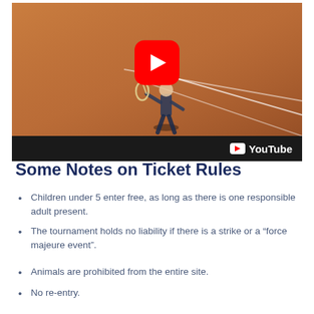[Figure (screenshot): YouTube video thumbnail showing a tennis player on a clay court, with a large red YouTube play button overlay and a YouTube logo bar at the bottom.]
Some Notes on Ticket Rules
Children under 5 enter free, as long as there is one responsible adult present.
The tournament holds no liability if there is a strike or a “force majeure event”.
Animals are prohibited from the entire site.
No re-entry.